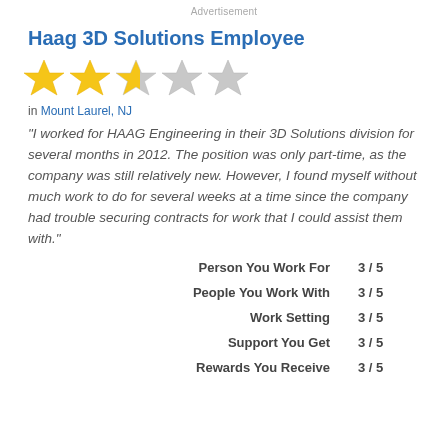Advertisement
Haag 3D Solutions Employee
[Figure (infographic): 3 filled gold stars, 1 half-filled gold star, 1 empty star rating display]
in Mount Laurel, NJ
"I worked for HAAG Engineering in their 3D Solutions division for several months in 2012. The position was only part-time, as the company was still relatively new. However, I found myself without much work to do for several weeks at a time since the company had trouble securing contracts for work that I could assist them with."
| Category | Score |
| --- | --- |
| Person You Work For | 3 / 5 |
| People You Work With | 3 / 5 |
| Work Setting | 3 / 5 |
| Support You Get | 3 / 5 |
| Rewards You Receive | 3 / 5 |